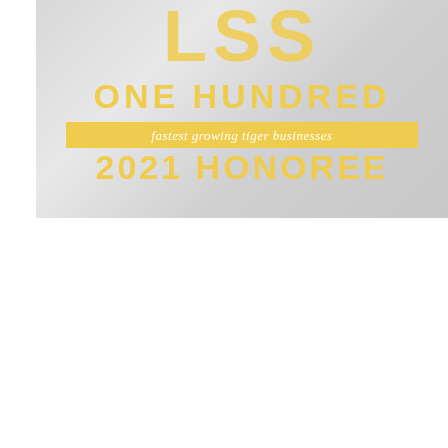[Figure (logo): LSU 100 One Hundred Fastest Growing Tiger Businesses 2021 Honoree badge/seal on gray textured background]
[Figure (photo): Lower gray panel, blank textured gray rectangle]